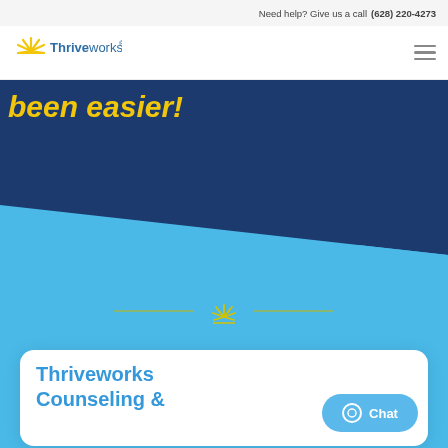Need help? Give us a call (628) 220-4273
[Figure (logo): Thriveworks logo with sun/rays icon and blue text]
been easier!
[Figure (illustration): Thriveworks sun/rays decorative divider with horizontal lines on either side, on light blue background]
Thriveworks Counseling &
[Figure (other): Chat button with speech bubble icon]